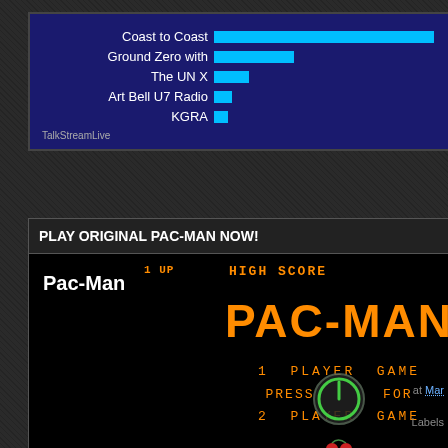[Figure (bar-chart): TalkStreamLive radio stations chart]
TalkStreamLive
PLAY ORIGINAL PAC-MAN NOW!
[Figure (screenshot): Pac-Man arcade game screenshot showing title screen with '1 UP', 'HIGH SCORE', 'PAC-MAN' title in orange, '1 PLAYER GAME', 'PRESS FOR', '2 PLAYER GAME' text and a power button overlay icon]
at Mar
Labels